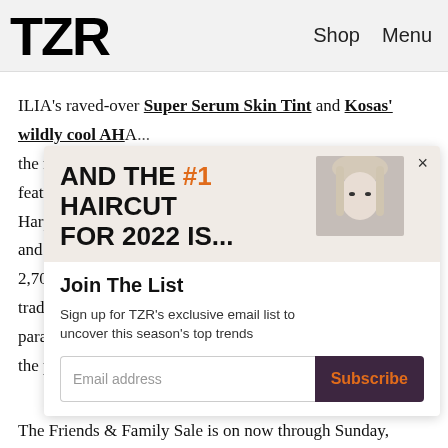TZR  Shop  Menu
ILIA's raved-over Super Serum Skin Tint and Kosas' wildly cool AHA... the markdowns, featured in the s Harper, Tower 2 and RMS Beauty 2,700-plus ingre trademarked Di parabens, phtha the process of e
[Figure (infographic): Popup overlay with headline 'AND THE #1 HAIRCUT FOR 2022 IS...' with a portrait of a woman with blond hair on the right side]
Join The List
Sign up for TZR's exclusive email list to uncover this season's top trends
Email address  Subscribe
The Friends & Family Sale is on now through Sunday,